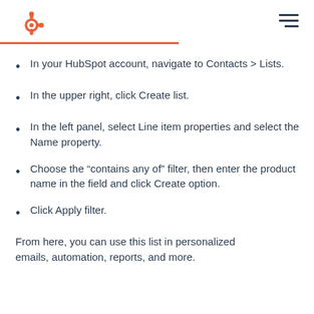HubSpot logo and navigation menu
In your HubSpot account, navigate to Contacts > Lists.
In the upper right, click Create list.
In the left panel, select Line item properties and select the Name property.
Choose the “contains any of” filter, then enter the product name in the field and click Create option.
Click Apply filter.
From here, you can use this list in personalized emails, automation, reports, and more.